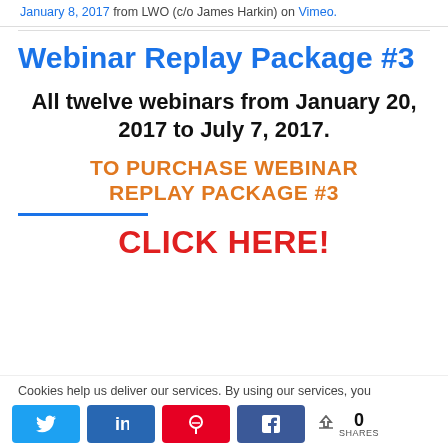January 8, 2017 from LWO (c/o James Harkin) on Vimeo.
Webinar Replay Package #3
All twelve webinars from January 20, 2017 to July 7, 2017.
TO PURCHASE WEBINAR REPLAY PACKAGE #3
CLICK HERE!
Cookies help us deliver our services. By using our services, you
0 SHARES